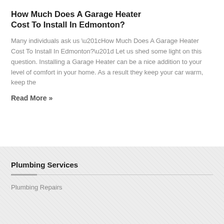How Much Does A Garage Heater Cost To Install In Edmonton?
Many individuals ask us “How Much Does A Garage Heater Cost To Install In Edmonton?” Let us shed some light on this question. Installing a Garage Heater can be a nice addition to your level of comfort in your home. As a result they keep your car warm, keep the
Read More »
Plumbing Services
Plumbing Repairs